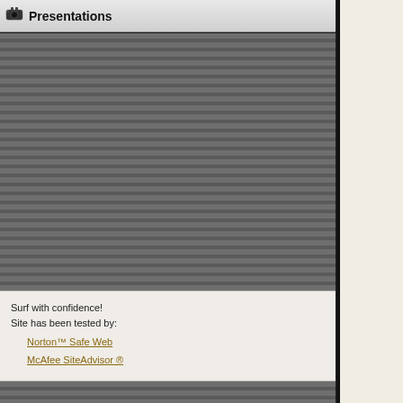Presentations
[Figure (other): Striped grey decorative area filling the left panel navigation column]
Surf with confidence!
Site has been tested by:
Norton™ Safe Web
McAfee SiteAdvisor ®